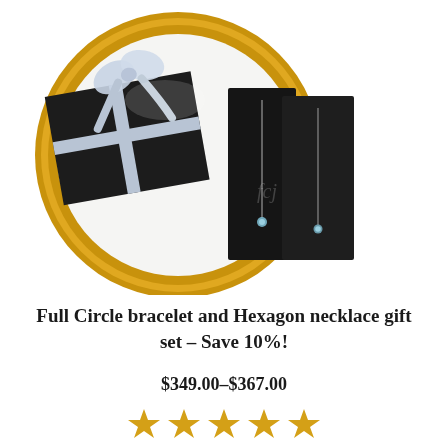[Figure (photo): Product photo of a Full Circle bracelet and Hexagon necklace jewelry gift set. Shows a gold-rimmed circular tray with white interior containing a black gift box with a silver satin bow, alongside two black necklace display cards showing a delicate silver necklace with a small blue gemstone pendant. A watermark logo 'fcj' is visible on the cards.]
Full Circle bracelet and Hexagon necklace gift set – Save 10%!
$349.00–$367.00
[Figure (other): Five gold star rating icons]